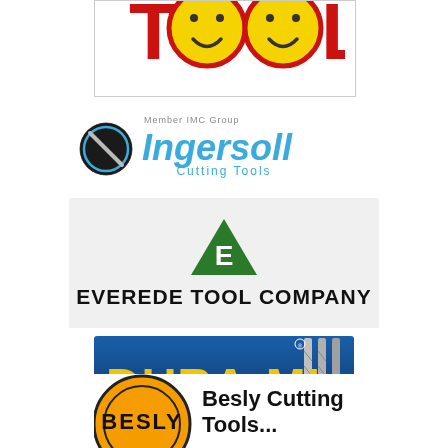[Figure (logo): Smiley Tool logo partially cropped at top — red block letters spelling TOOL with two yellow smiley face circles as the O's]
[Figure (logo): Ingersoll Cutting Tools logo — circular icon with slash, blue text reading 'Ingersoll Cutting Tools', 'Member IMC Group' tagline above]
[Figure (logo): Everede Tool Company logo — green downward triangle with white E letter, bold black text 'EVEREDE TOOL COMPANY']
[Figure (logo): Dura-Mill Cutting Tool Excellence logo — blue background with yellow bold text DURA-MILL, drill bits on right, white text 'CUTTING TOOL EXCELLENCE' on dark band]
[Figure (logo): Besly Cutting Tools logo — partially visible, orange circular badge with BESLY text and black outline, bold black text 'Besly Cutting' visible]